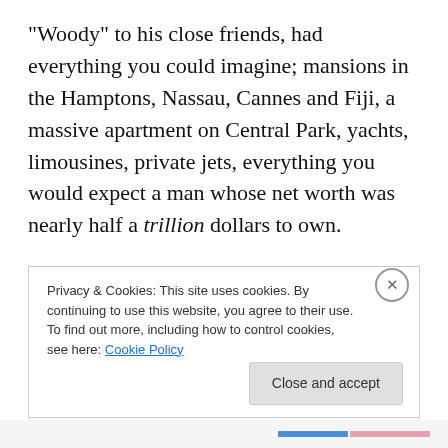“Woody” to his close friends, had everything you could imagine; mansions in the Hamptons, Nassau, Cannes and Fiji, a massive apartment on Central Park, yachts, limousines, private jets, everything you would expect a man whose net worth was nearly half a trillion dollars to own.

He had been born into celebrity; his father was Guy Woodhouse, the movie star. In the 70s and 80s Guy was as big as Burt Reynolds and had done equally well on television, Broadway and the movies. Oddly, Andrew didn’t
Privacy & Cookies: This site uses cookies. By continuing to use this website, you agree to their use.
To find out more, including how to control cookies, see here: Cookie Policy